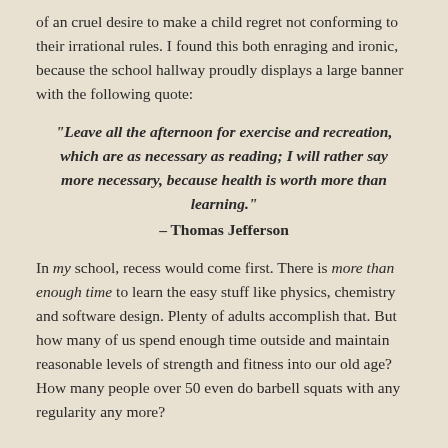of an cruel desire to make a child regret not conforming to their irrational rules. I found this both enraging and ironic, because the school hallway proudly displays a large banner with the following quote:
"Leave all the afternoon for exercise and recreation, which are as necessary as reading; I will rather say more necessary, because health is worth more than learning." – Thomas Jefferson
In my school, recess would come first. There is more than enough time to learn the easy stuff like physics, chemistry and software design. Plenty of adults accomplish that. But how many of us spend enough time outside and maintain reasonable levels of strength and fitness into our old age? How many people over 50 even do barbell squats with any regularity any more?